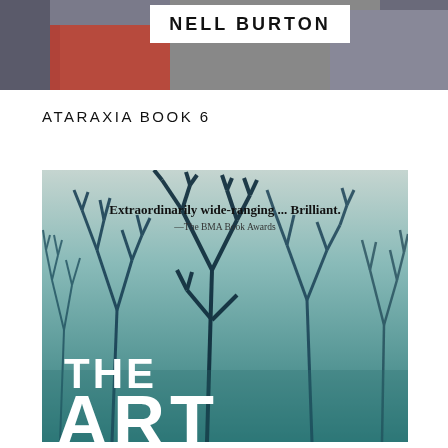[Figure (photo): Top portion of a book cover or promotional page showing a person in a red top, partially visible, with a white banner overlaid showing author name NELL BURTON in bold black capital letters.]
NELL BURTON
ATARAXIA BOOK 6
[Figure (photo): Book cover for 'The Art...' by Nell Burton. Background shows bare winter trees in teal/blue tones against a pale gray-green sky. A blurb reads 'Extraordinarily wide-ranging ... Brilliant.' attributed to The BMA Book Awards. Large white bold text reads 'THE ART' at the bottom.]